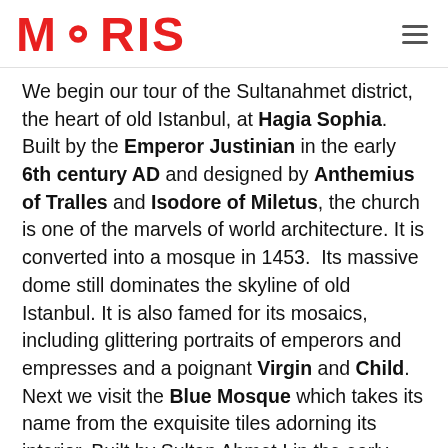MORIS
We begin our tour of the Sultanahmet district, the heart of old Istanbul, at Hagia Sophia. Built by the Emperor Justinian in the early 6th century AD and designed by Anthemius of Tralles and Isodore of Miletus, the church is one of the marvels of world architecture. It is converted into a mosque in 1453.  Its massive dome still dominates the skyline of old Istanbul. It is also famed for its mosaics, including glittering portraits of emperors and empresses and a poignant Virgin and Child. Next we visit the Blue Mosque which takes its name from the exquisite tiles adorning its interior. Built by Sultan Ahmet I in the early 17th century and designed by a pupil of Sinan, the greatest of Ottoman architects, it is the only imperial